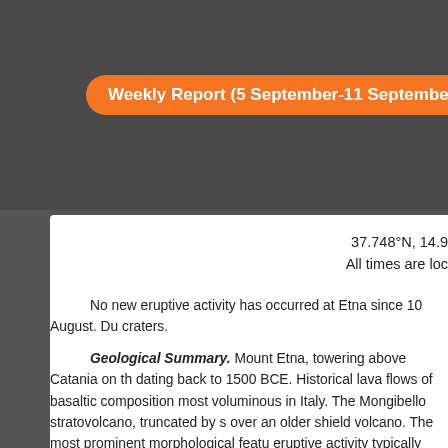Weekly Report (5 September-11 September 2001)
37.748°N, 14.9
All times are loc
No new eruptive activity has occurred at Etna since 10 August. Du craters.
Geological Summary. Mount Etna, towering above Catania on th dating back to 1500 BCE. Historical lava flows of basaltic composition most voluminous in Italy. The Mongibello stratovolcano, truncated by s over an older shield volcano. The most prominent morphological featu eruptive activity typically occur, sometimes simultaneously. Persistent more summit craters. Flank vents, typically with higher effusion rates, a downward from near the summit (usually accompanied by Strombolian vents of lower-flank lava flows. Lava flows extend to the foot of the vo